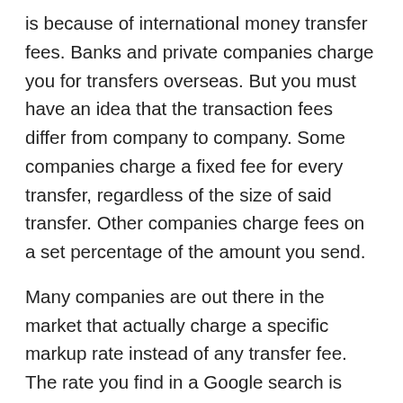is because of international money transfer fees. Banks and private companies charge you for transfers overseas. But you must have an idea that the transaction fees differ from company to company. Some companies charge a fixed fee for every transfer, regardless of the size of said transfer. Other companies charge fees on a set percentage of the amount you send.
Many companies are out there in the market that actually charge a specific markup rate instead of any transfer fee. The rate you find in a Google search is known as the mid-market rate. The mid-market rate is the exchange rate that the